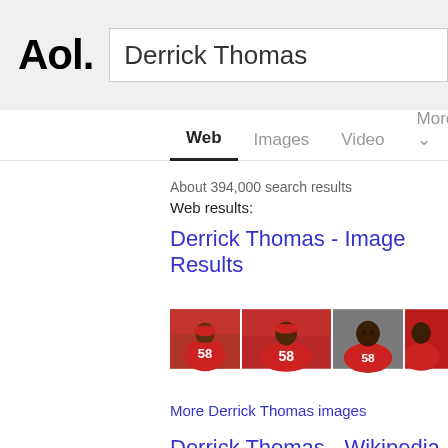[Figure (screenshot): AOL logo in bold black text]
Derrick Thomas
Web  Images  Video  More  Any
About 394,000 search results
Web results:
Derrick Thomas - Image Results
[Figure (photo): Four photos of Derrick Thomas in Kansas City Chiefs red #58 jersey]
More Derrick Thomas images
Derrick Thomas - Wikipedia
en.m.wikipedia.org/wiki/Derrick_Thomas
Derrick Vincent Thomas (January 1, 1967 - Febru...